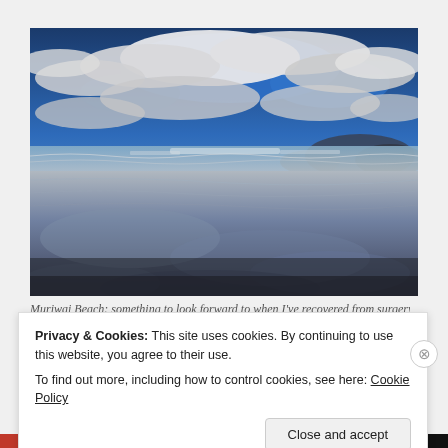[Figure (photo): A dramatic beach scene at Muriwai Beach. The photo shows a wide sandy beach with shallow water reflecting dramatic cloudy skies. The upper half shows a blue sky with large white clouds, and the lower half shows the wet sand reflecting those same clouds. Hills and dark silhouetted land are visible on the right horizon.]
Muriwai Beach: something to look forward to when I've recovered from surgery
Privacy & Cookies: This site uses cookies. By continuing to use this website, you agree to their use.
To find out more, including how to control cookies, see here: Cookie Policy